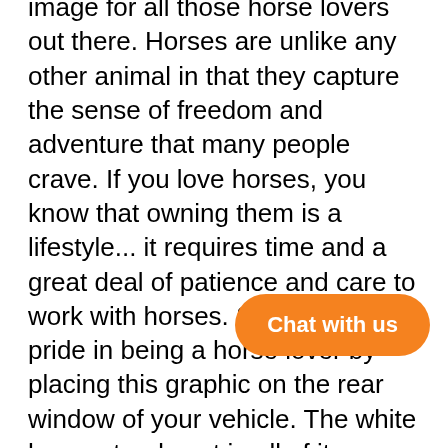image for all those horse lovers out there. Horses are unlike any other animal in that they capture the sense of freedom and adventure that many people crave. If you love horses, you know that owning them is a lifestyle... it requires time and a great deal of patience and care to work with horses. Show off your pride in being a horse lover by placing this graphic on the rear window of your vehicle. The white horse stands out in all of its majesty and beauty against an all black background in this beautiful graphic.
Graphic is printed to order and available in 3 sizes.
Order with or without lamination... a clear-coat that extends the life of the graphic and provides better visibility in the rain & snow